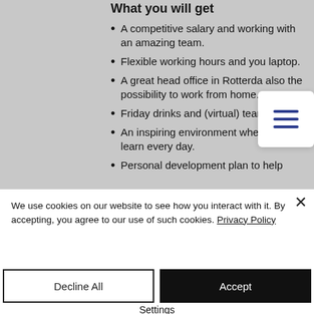What you will get
A competitive salary and working with an amazing team.
Flexible working hours and you laptop.
A great head office in Rotterdam, also the possibility to work from home.
Friday drinks and (virtual) team events.
An inspiring environment where you learn every day.
Personal development plan to help
[Figure (other): Hamburger menu icon with three horizontal blue lines on white background]
We use cookies on our website to see how you interact with it. By accepting, you agree to our use of such cookies. Privacy Policy
Decline All
Accept
Settings